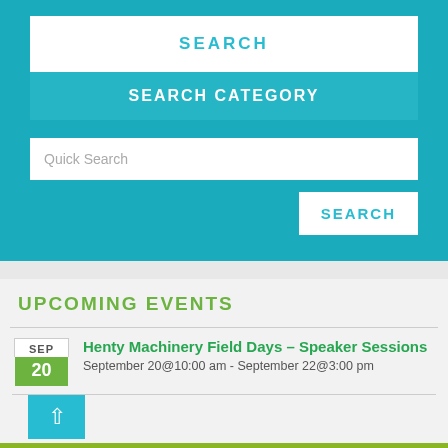SEARCH
SEARCH CATEGORY
Quick Search
SEARCH
UPCOMING EVENTS
Henty Machinery Field Days – Speaker Sessions
September 20@10:00 am - September 22@3:00 pm
RECENT POSTS